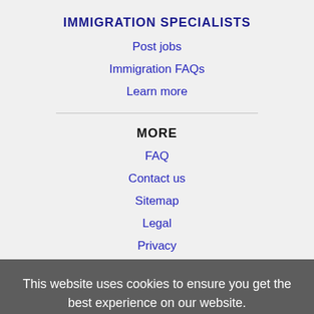IMMIGRATION SPECIALISTS
Post jobs
Immigration FAQs
Learn more
MORE
FAQ
Contact us
Sitemap
Legal
Privacy
This website uses cookies to ensure you get the best experience on our website.
Learn more
Got it!
NEARBY CITIES
Buffalo, NY Jobs
Cheektowaga, NY Jobs
Erie, PA Jobs